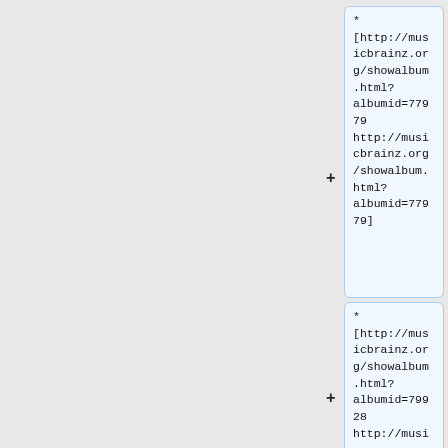* [http://musicbrainz.org/showalbum.html?albumid=77979 http://musicbrainz.org/showalbum.html?albumid=77979]
* [http://musicbrainz.org/showalbum.html?albumid=79928 http://musi...